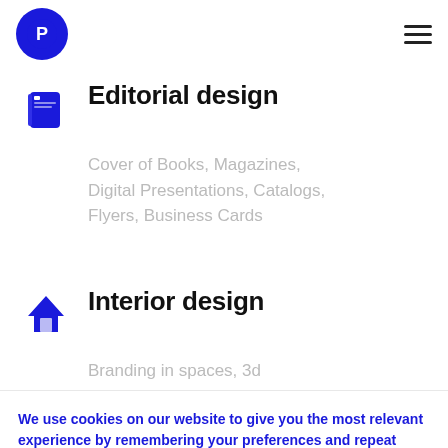[Figure (logo): Blue circle logo with stylized P letter in white]
Editorial design
Cover of Books, Magazines, Digital Presentations, Catalogs, Flyers, Business Cards
Interior design
Branding in spaces, 3d
We use cookies on our website to give you the most relevant experience by remembering your preferences and repeat visits. By clicking “Accept All”, you consent to the use of ALL the cookies. However, you may visit “Cookie Settings” to provide a controlled consent.
Cookie Settings
Accept All